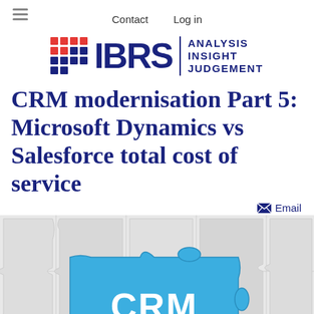Contact   Log in
[Figure (logo): IBRS logo with red and dark blue grid icon, bold IBRS text, vertical divider, and tagline ANALYSIS INSIGHT JUDGEMENT]
CRM modernisation Part 5: Microsoft Dynamics vs Salesforce total cost of service
Email
[Figure (photo): Puzzle pieces in light grey/white and blue, with the largest blue puzzle piece in the foreground displaying the text CRM in white bold letters]